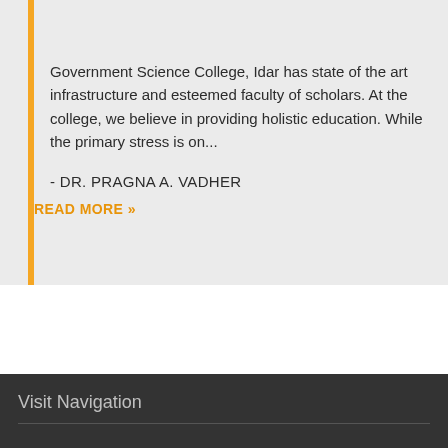Government Science College, Idar has state of the art infrastructure and esteemed faculty of scholars. At the college, we believe in providing holistic education. While the primary stress is on...
- DR. PRAGNA A. VADHER
READ MORE »
Visit Navigation